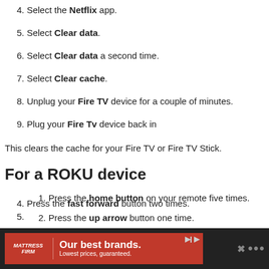4. Select the Netflix app.
5. Select Clear data.
6. Select Clear data a second time.
7. Select Clear cache.
8. Unplug your Fire TV device for a couple of minutes.
9. Plug your Fire Tv device back in
This clears the cache for your Fire TV or Fire TV Stick.
For a ROKU device
1. Press the home button on your remote five times.
2. Press the up arrow button one time.
3. Press the fast rewind button two times.
4. Press the fast forward button two times (partially visible)
5. (partially visible)
[Figure (other): Advertisement banner for Mattress Firm: 'Our best brands. Lowest prices, guaranteed.']